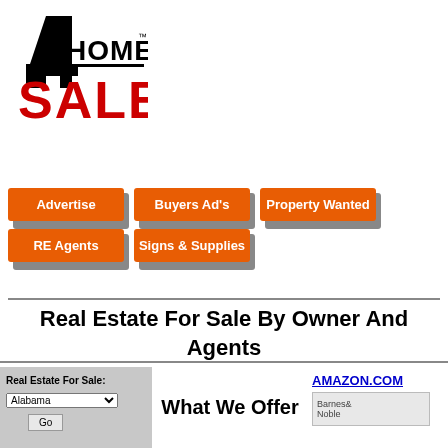[Figure (logo): A4Home For Sale logo: large black '4' with 'HOME' text and trademark symbol, 'SALE' in large red bold text below]
[Figure (infographic): Navigation buttons row 1: Advertise, Buyers Ad's, Property Wanted (orange buttons with drop shadows)]
[Figure (infographic): Navigation buttons row 2: RE Agents, Signs & Supplies (orange buttons with drop shadows)]
Real Estate For Sale By Owner And Agents
Real Estate For Sale: Alabama Go
What We Offer
AMAZON.COM
[Figure (other): Barnes & Noble logo/image placeholder]